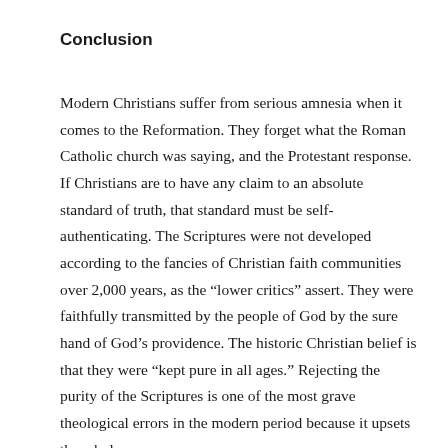Conclusion
Modern Christians suffer from serious amnesia when it comes to the Reformation. They forget what the Roman Catholic church was saying, and the Protestant response. If Christians are to have any claim to an absolute standard of truth, that standard must be self-authenticating. The Scriptures were not developed according to the fancies of Christian faith communities over 2,000 years, as the “lower critics” assert. They were faithfully transmitted by the people of God by the sure hand of God’s providence. The historic Christian belief is that they were “kept pure in all ages.” Rejecting the purity of the Scriptures is one of the most grave theological errors in the modern period because it upsets the whole